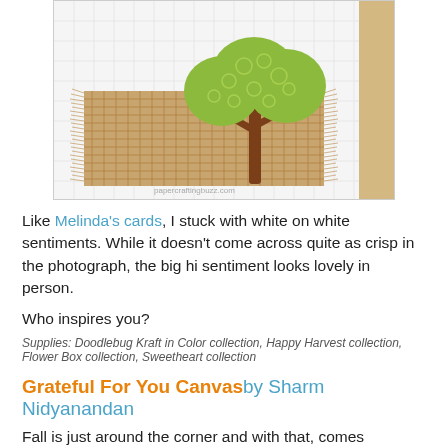[Figure (photo): Handmade card with burlap texture and a green tree cutout on a white grid background]
Like Melinda's cards, I stuck with white on white sentiments. While it doesn't come across quite as crisp in the photograph, the big hi sentiment looks lovely in person.
Who inspires you?
Supplies: Doodlebug Kraft in Color collection, Happy Harvest collection, Flower Box collection, Sweetheart collection
Grateful For You Canvas by Sharm Nidyanandan
Fall is just around the corner and with that, comes